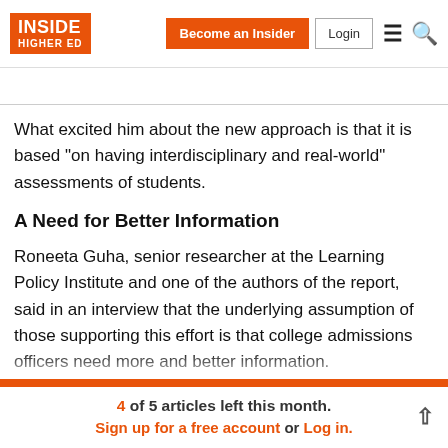INSIDE HIGHER ED | Become an Insider | Login
...
What excited him about the new approach is that it is based "on having interdisciplinary and real-world" assessments of students.
A Need for Better Information
Roneeta Guha, senior researcher at the Learning Policy Institute and one of the authors of the report, said in an interview that the underlying assumption of those supporting this effort is that college admissions officers need more and better information.
4 of 5 articles left this month. Sign up for a free account or Log in.